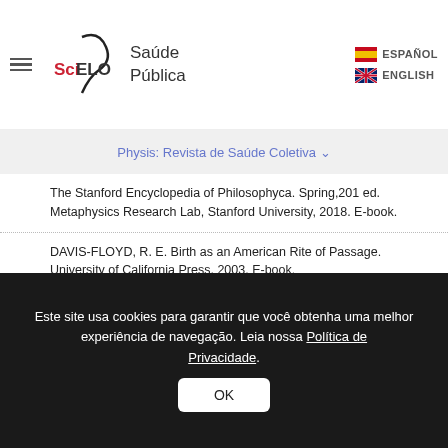SciELO Saúde Pública — ESPAÑOL / ENGLISH
Physis: Revista de Saúde Coletiva
The Stanford Encyclopedia of Philosophyca. Spring,201 ed. Metaphysics Research Lab, Stanford University, 2018. E-book.
DAVIS-FLOYD, R. E. Birth as an American Rite of Passage. University of California Press, 2003. E-book.
DIAS, M. A. B. et al. Factors associated with cesarean delivery during labor in primiparous women assisted in the Brazilian Public Health
Este site usa cookies para garantir que você obtenha uma melhor experiência de navegação. Leia nossa Política de Privacidade.